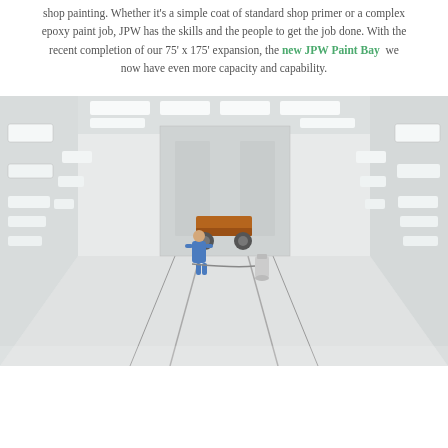shop painting. Whether it's a simple coat of standard shop primer or a complex epoxy paint job, JPW has the skills and the people to get the job done. With the recent completion of our 75' x 175' expansion, the new JPW Paint Bay  we now have even more capacity and capability.
[Figure (photo): Interior view of the JPW Paint Bay — a large, bright white industrial paint booth with rectangular light panels along both side walls and ceiling. A worker in blue coveralls stands in the middle distance next to a wheeled frame/chassis being painted. A spray equipment canister sits on the floor to the right.]